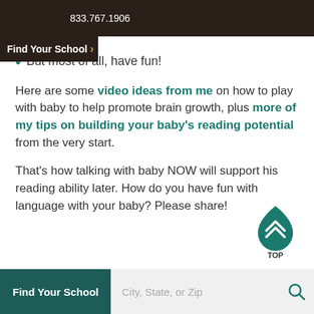833.767.1906
Find Your School >
But most of all, have fun!
Here are some video ideas from me on how to play with baby to help promote brain growth, plus more of my tips on building your baby's reading potential from the very start.
That's how talking with baby NOW will support his reading ability later. How do you have fun with language with your baby? Please share!
[Figure (logo): Teal teardrop/shield shape with upward chevron arrow inside, labeled TOP]
Find Your School  City, State, or Zip [search icon]